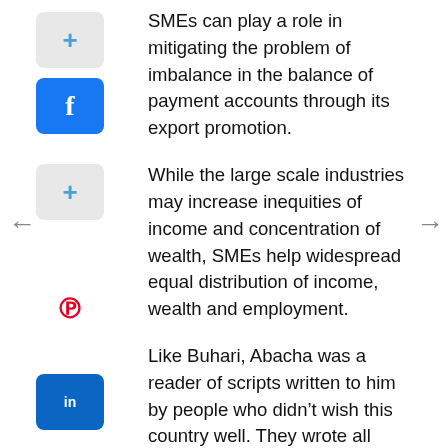[Figure (other): Social sharing sidebar with plus, Facebook, plus, left arrow, Pinterest, LinkedIn, and right arrow navigation icons]
SMEs can play a role in mitigating the problem of imbalance in the balance of payment accounts through its export promotion.
While the large scale industries may increase inequities of income and concentration of wealth, SMEs help widespread equal distribution of income, wealth and employment.
Like Buhari, Abacha was a reader of scripts written to him by people who didn’t wish this country well. They wrote all sorts of lies and statistics you dare not contend. Nigerians were gagged and suffering in fear and silence. Selfish beneficiaries of Abacha government ruled the airwaves. Social media wasn’t popular then. One business man from the Eastern States even vowed to go on exile if Abacha didn’t succeed himself. The worst moments in this country’s history.